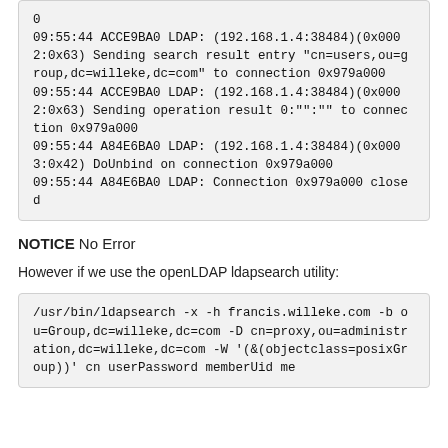[Figure (screenshot): Code block showing LDAP log output: 09:55:44 ACCE9BA0 LDAP entries and operation results, plus DoUnbind and Connection closed messages]
NOTICE No Error
However if we use the openLDAP ldapsearch utility:
[Figure (screenshot): Code block showing ldapsearch command: /usr/bin/ldapsearch -x -h francis.willeke.com -b ou=Group,dc=willeke,dc=com -D cn=proxy,ou=administration,dc=willeke,dc=com -W '(&(objectclass=posixGroup))' cn userPassword memberUid me]